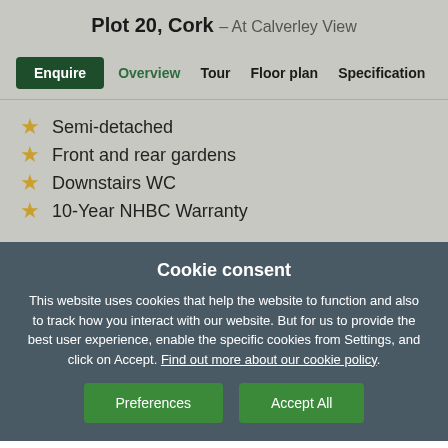Plot 20, Cork – At Calverley View
Enquire | Overview | Tour | Floor plan | Specification
Semi-detached
Front and rear gardens
Downstairs WC
10-Year NHBC Warranty
Cookie consent
This website uses cookies that help the website to function and also to track how you interact with our website. But for us to provide the best user experience, enable the specific cookies from Settings, and click on Accept. Find out more about our cookie policy
Preferences | Accept All